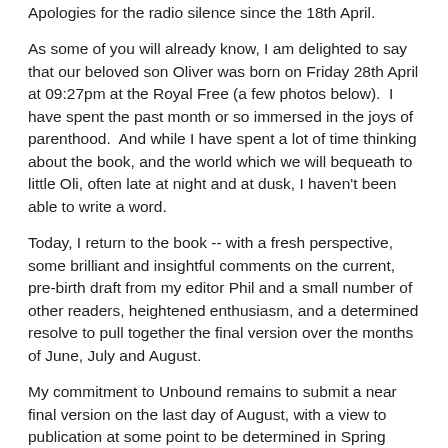Apologies for the radio silence since the 18th April.
As some of you will already know, I am delighted to say that our beloved son Oliver was born on Friday 28th April at 09:27pm at the Royal Free (a few photos below).  I have spent the past month or so immersed in the joys of parenthood.  And while I have spent a lot of time thinking about the book, and the world which we will bequeath to little Oli, often late at night and at dusk, I haven't been able to write a word.
Today, I return to the book -- with a fresh perspective, some brilliant and insightful comments on the current, pre-birth draft from my editor Phil and a small number of other readers, heightened enthusiasm, and a determined resolve to pull together the final version over the months of June, July and August.
My commitment to Unbound remains to submit a near final version on the last day of August, with a view to publication at some point to be determined in Spring 2018: an exciting prospect, and one which I take very seriously.